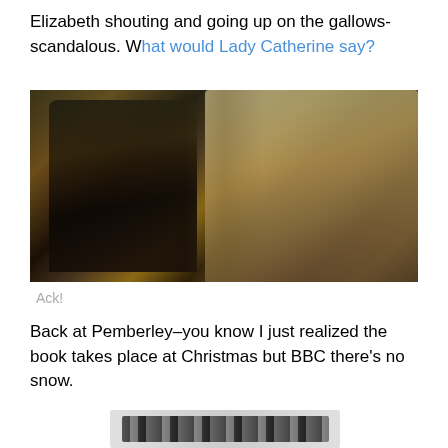Elizabeth shouting and going up on the gallows-scandalous. What would Lady Catherine say?
[Figure (photo): Two people in period costume seated in an ornate room; a man in dark clothing on the left looking sideways, and an older woman in formal dress on the right with a shocked expression.]
Ack!
Back at Pemberley–you know I just realized the book takes place at Christmas but BBC there's no snow.
[Figure (photo): Partial bottom image of what appears to be a decorative or title banner, mostly cut off.]